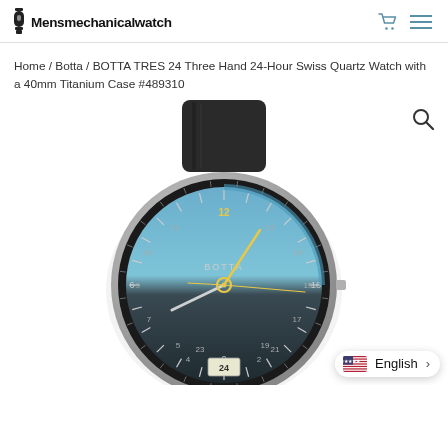Mensmechanicalwatch
Home / Botta / BOTTA TRES 24 Three Hand 24-Hour Swiss Quartz Watch with a 40mm Titanium Case #489310
[Figure (photo): Product photo of a BOTTA TRES 24 watch with titanium case, blue/grey dial with 24-hour markings, yellow hands, and black leather strap.]
English